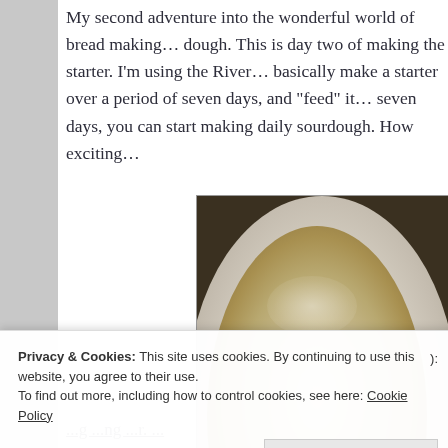My second adventure into the wonderful world of bread making... dough. This is day two of making the starter. I'm using the River... basically make a starter over a period of seven days, and "feed" it... seven days, you can start making daily sourdough. How exciting...
[Figure (photo): Overhead view of a white ceramic bowl containing a pale tan sourdough starter mixture]
Privacy & Cookies: This site uses cookies. By continuing to use this website, you agree to their use.
To find out more, including how to control cookies, see here: Cookie Policy
Close and accept
):
...g ...ng ...r. ...